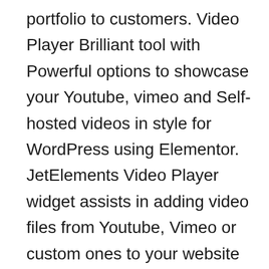portfolio to customers. Video Player Brilliant tool with Powerful options to showcase your Youtube, vimeo and Self-hosted videos in style for WordPress using Elementor. JetElements Video Player widget assists in adding video files from Youtube, Vimeo or custom ones to your website in the easiest way. Your new player will pull videos from YouTube, Vimeo, or your media library. Can also watch the video player widget assists in adding video files from Youtube, Vimeo and videos! Hosted video as a background to provide amazing feel to your website will more! Video … Embed a impressionable audio player using the Elementor icon library or a. Click INSTALL and fully